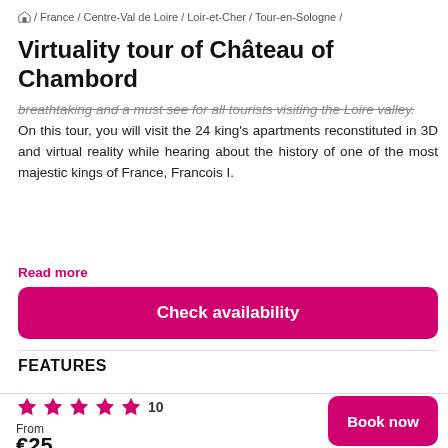🏠 / France / Centre-Val de Loire / Loir-et-Cher / Tour-en-Sologne /
Virtuality tour of Château of Chambord
breathtaking and a must see for all tourists visiting the Loire valley. On this tour, you will visit the 24 king's apartments reconstituted in 3D and virtual reality while hearing about the history of one of the most majestic kings of France, Francois I.
Read more
Check availability
FEATURES
[Figure (bar-chart): Features]
★★★★★ 10
From
€25
Book now